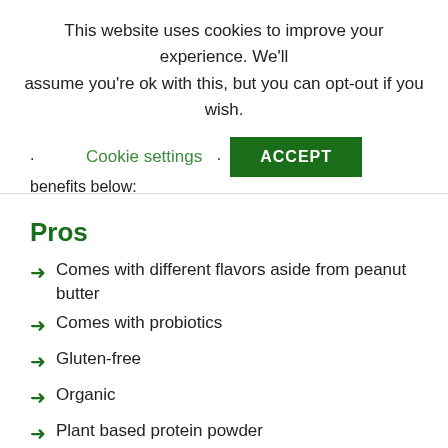This website uses cookies to improve your experience. We'll assume you're ok with this, but you can opt-out if you wish.
Cookie settings  ACCEPT
benefits below:
Pros
Comes with different flavors aside from peanut butter
Comes with probiotics
Gluten-free
Organic
Plant based protein powder
No GMO